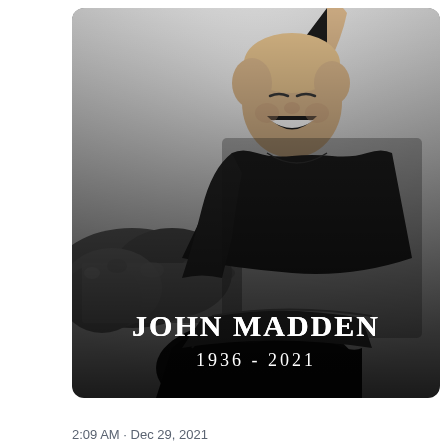[Figure (photo): Black and white photograph of John Madden laughing and raising his right arm in celebration, appearing to be riding on someone's shoulders with a crowd visible in the background. The bottom of the image contains white text overlay reading 'JOHN MADDEN' and '1936 - 2021'.]
2:09 AM · Dec 29, 2021